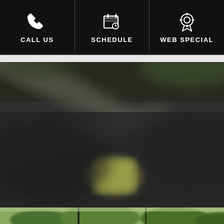[Figure (screenshot): Mobile website navigation bar with black background showing three icons and labels: CALL US (phone icon), SCHEDULE (calendar/clock icon), WEB SPECIAL (ribbon/award icon), all in white on black]
[Figure (photo): Blurred/out-of-focus photo of a car being serviced or washed, dark tones with a yellow/green object visible in center, appears to be an automotive service scene]
[Figure (photo): Bottom strip showing beginning of another outdoor/nature photo with green trees visible]